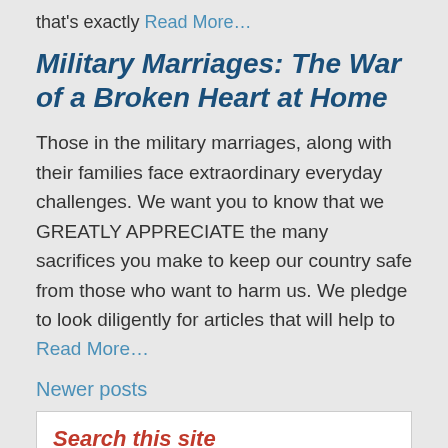that's exactly Read More…
Military Marriages: The War of a Broken Heart at Home
Those in the military marriages, along with their families face extraordinary everyday challenges. We want you to know that we GREATLY APPRECIATE the many sacrifices you make to keep our country safe from those who want to harm us. We pledge to look diligently for articles that will help to Read More…
Newer posts
Search this site